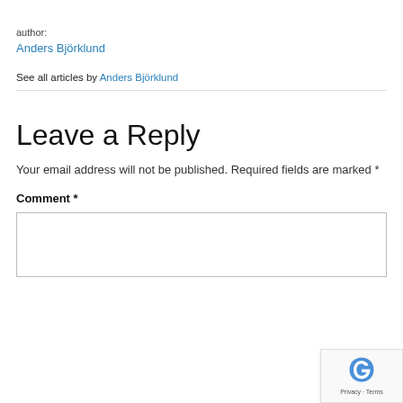author:
Anders Björklund
See all articles by Anders Björklund
Leave a Reply
Your email address will not be published. Required fields are marked *
Comment *
[Figure (other): reCAPTCHA badge with logo and Privacy - Terms text]